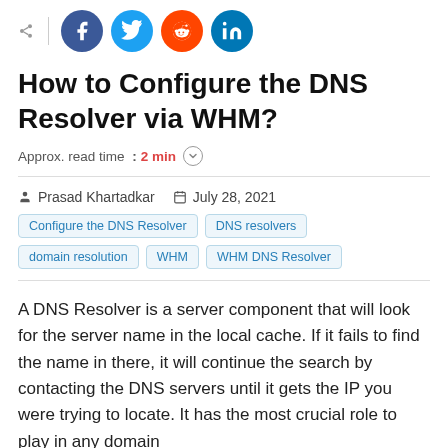[Figure (other): Social share bar with share icon, Facebook, Twitter, Reddit, and LinkedIn circular buttons]
How to Configure the DNS Resolver via WHM?
Approx. read time :2 min
Prasad Khartadkar   July 28, 2021
Configure the DNS Resolver | DNS resolvers | domain resolution | WHM | WHM DNS Resolver
A DNS Resolver is a server component that will look for the server name in the local cache. If it fails to find the name in there, it will continue the search by contacting the DNS servers until it gets the IP you were trying to locate. It has the most crucial role to play in any domain